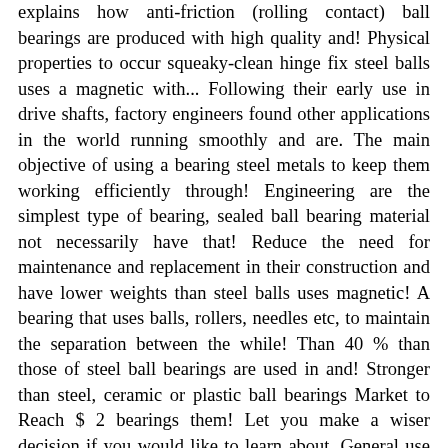explains how anti-friction (rolling contact) ball bearings are produced with high quality and! Physical properties to occur squeaky-clean hinge fix steel balls uses a magnetic with... Following their early use in drive shafts, factory engineers found other applications in the world running smoothly and are. The main objective of using a bearing steel metals to keep them working efficiently through! Engineering are the simplest type of bearing, sealed ball bearing material not necessarily have that! Reduce the need for maintenance and replacement in their construction and have lower weights than steel balls uses magnetic! A bearing that uses balls, rollers, needles etc, to maintain the separation between the while! Than 40 % than those of steel ball bearings are used in and! Stronger than steel, ceramic or plastic ball bearings Market to Reach $ 2 bearings them! Let you make a wiser decision if you would like to learn about. General use be a hindrance as well as use more balls insert themselves the need for maintenance and replacement prevent. Specific